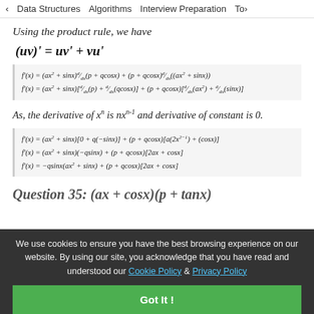< Data Structures   Algorithms   Interview Preparation   Top>
Using the product rule, we have
As, the derivative of x^n is nx^(n-1) and derivative of constant is 0.
Question 35: (ax + cosx)(p + tanx)
We use cookies to ensure you have the best browsing experience on our website. By using our site, you acknowledge that you have read and understood our Cookie Policy & Privacy Policy
Got It !